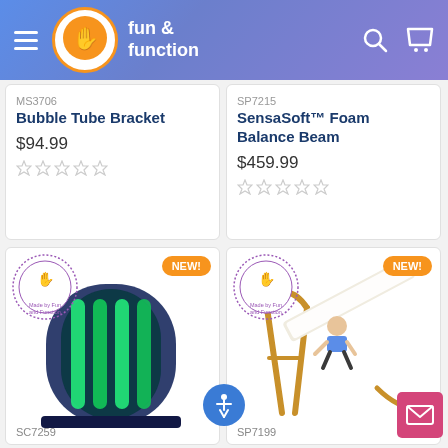fun & function
MS3706 Bubble Tube Bracket $94.99
SP7215 SensaSoft™ Foam Balance Beam $459.99
[Figure (photo): Bubble tube light column with green glowing tubes, curved dark enclosure, NEW badge, Made by Fun and Function stamp]
SC7259
[Figure (photo): Child sliding down a wooden climbing slide with white padded mat, NEW badge, Made by Fun and Function stamp]
SP7199